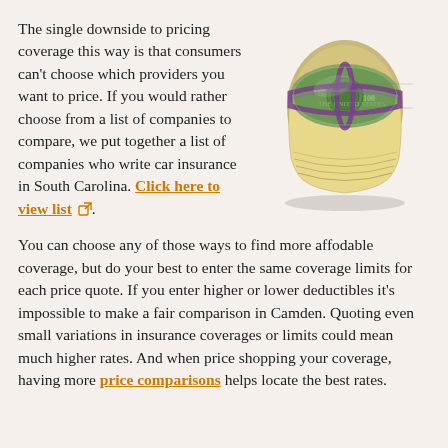The single downside to pricing coverage this way is that consumers can't choose which providers you want to price. If you would rather choose from a list of companies to compare, we put together a list of companies who write car insurance in South Carolina. Click here to view list.
[Figure (photo): A rolled-up bundle of US $100 dollar bills secured with a purple rubber band, photographed on a white background.]
You can choose any of those ways to find more affodable coverage, but do your best to enter the same coverage limits for each price quote. If you enter higher or lower deductibles it's impossible to make a fair comparison in Camden. Quoting even small variations in insurance coverages or limits could mean much higher rates. And when price shopping your coverage, having more price comparisons helps locate the best rates.